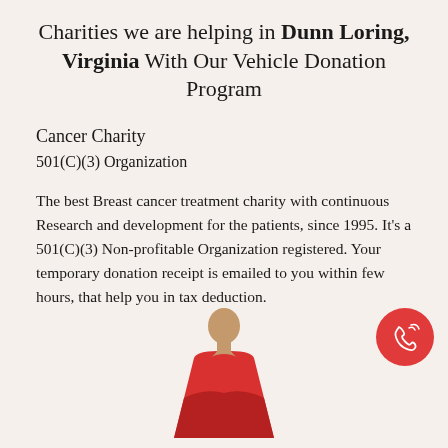Charities we are helping in Dunn Loring, Virginia With Our Vehicle Donation Program
Cancer Charity
501(C)(3) Organization
The best Breast cancer treatment charity with continuous Research and development for the patients, since 1995. It's a 501(C)(3) Non-profitable Organization registered. Your temporary donation receipt is emailed to you within few hours, that help you in tax deduction.
[Figure (illustration): Illustration of a person in a red dress with a bald head, representing a cancer patient or survivor. A red circular phone/call button is also visible in the upper right area.]